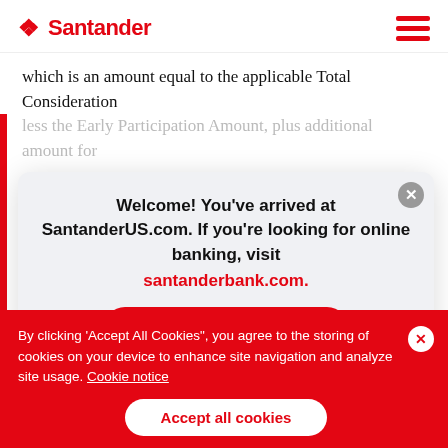Santander
which is an amount equal to the applicable Total Consideration
[Figure (screenshot): Modal dialog: Welcome message directing users to SantanderUS.com or santanderbank.com for online banking, with a 'Santander Banking' button.]
“Withdrawal Date”), but not thereafter unless otherwise required by applicable law. The Company will accept for payment, and
By clicking ‘Accept All Cookies”, you agree to the storing of cookies on your device to enhance site navigation and analyze site usage. Cookie notice
Accept all cookies